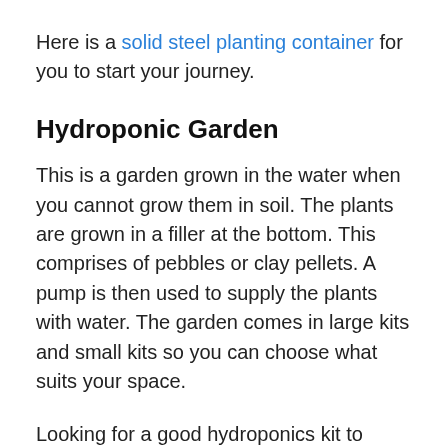Here is a solid steel planting container for you to start your journey.
Hydroponic Garden
This is a garden grown in the water when you cannot grow them in soil. The plants are grown in a filler at the bottom. This comprises of pebbles or clay pellets. A pump is then used to supply the plants with water. The garden comes in large kits and small kits so you can choose what suits your space.
Looking for a good hydroponics kit to start, here is one for it...